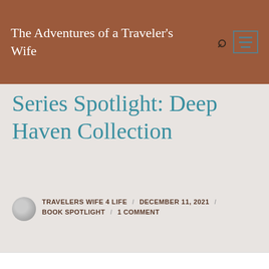The Adventures of a Traveler's Wife
Series Spotlight: Deep Haven Collection
TRAVELERS WIFE 4 LIFE / DECEMBER 11, 2021 / BOOK SPOTLIGHT / 1 COMMENT
We use cookies to ensure that we give you the best experience on our website. See full Privacy Policies & Disclosure.
Accept and eat the cookies please
Decline